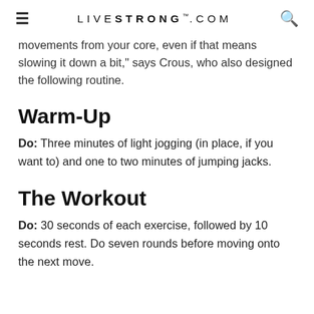≡  LIVESTRONG.COM  🔍
movements from your core, even if that means slowing it down a bit," says Crous, who also designed the following routine.
Warm-Up
Do: Three minutes of light jogging (in place, if you want to) and one to two minutes of jumping jacks.
The Workout
Do: 30 seconds of each exercise, followed by 10 seconds rest. Do seven rounds before moving onto the next move.